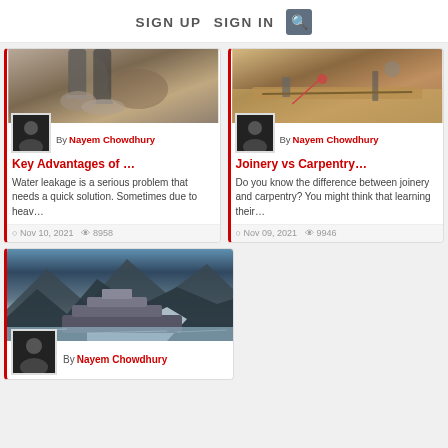SIGN UP  SIGN IN  [search]
[Figure (photo): Concrete being poured from pipes, construction scene]
By Nayem Chowdhury
Key Advantages of …
Water leakage is a serious problem that needs a quick solution. Sometimes due to heav…
Nov 10, 2021   8958
[Figure (photo): Person drawing on wood plank, carpentry tools on table]
By Nayem Chowdhury
Joinery vs Carpentry…
Do you know the difference between joinery and carpentry? You might think that learning their…
Nov 09, 2021   9946
[Figure (photo): Cruise ship near glacier and mountains]
By Nayem Chowdhury